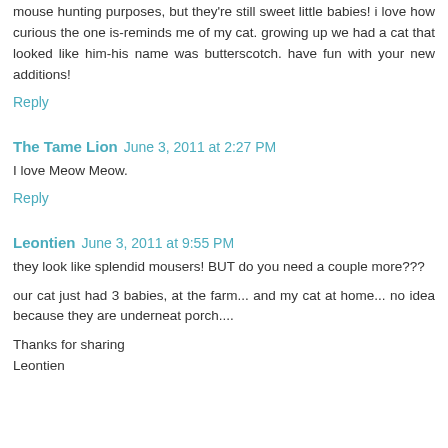mouse hunting purposes, but they're still sweet little babies! i love how curious the one is-reminds me of my cat. growing up we had a cat that looked like him-his name was butterscotch. have fun with your new additions!
Reply
The Tame Lion  June 3, 2011 at 2:27 PM
I love Meow Meow.
Reply
Leontien  June 3, 2011 at 9:55 PM
they look like splendid mousers! BUT do you need a couple more???
our cat just had 3 babies, at the farm... and my cat at home... no idea because they are underneat porch....
Thanks for sharing
Leontien